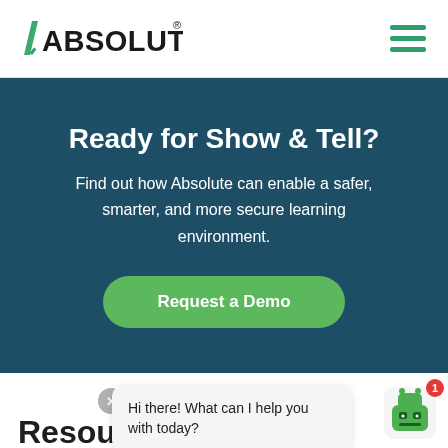[Figure (logo): Absolute logo with green slash and bold black text 'ABSOLUTE' with registered trademark symbol]
[Figure (illustration): Hamburger menu icon with three green horizontal bars]
Ready for Show & Tell?
Find out how Absolute can enable a safer, smarter, and more secure learning environment.
[Figure (illustration): Green rounded rectangle button labeled 'Request a Demo']
Hi there! What can I help you with today?
[Figure (illustration): Green robot chatbot icon with red badge showing '1']
Resources